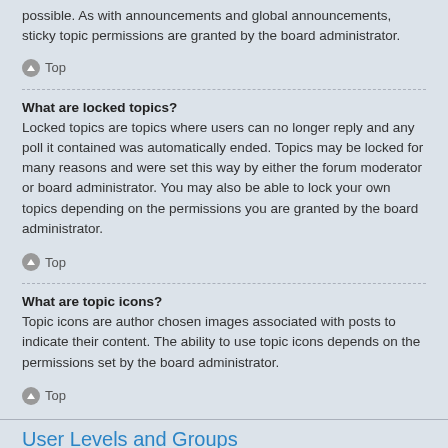possible. As with announcements and global announcements, sticky topic permissions are granted by the board administrator.
Top
What are locked topics?
Locked topics are topics where users can no longer reply and any poll it contained was automatically ended. Topics may be locked for many reasons and were set this way by either the forum moderator or board administrator. You may also be able to lock your own topics depending on the permissions you are granted by the board administrator.
Top
What are topic icons?
Topic icons are author chosen images associated with posts to indicate their content. The ability to use topic icons depends on the permissions set by the board administrator.
Top
User Levels and Groups
What are Administrators?
Administrators are members assigned with the highest level of control over the entire board. These members can control all facets of board operation, including